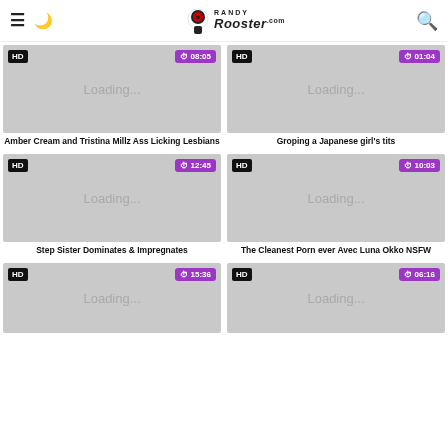Randy Rooster .com
[Figure (screenshot): Video thumbnail loading placeholder — HD badge, time 08:05]
Amber Cream and Tristina Millz Ass Licking Lesbians
[Figure (screenshot): Video thumbnail loading placeholder — HD badge, time 01:04]
Groping a Japanese girl's tits
[Figure (screenshot): Video thumbnail loading placeholder — HD badge, time 12:45]
Step Sister Dominates & Impregnates
[Figure (screenshot): Video thumbnail loading placeholder — HD badge, time 10:03]
The Cleanest Porn ever Avec Luna Okko NSFW
[Figure (screenshot): Video thumbnail loading placeholder — HD badge, time 15:36]
[Figure (screenshot): Video thumbnail loading placeholder — HD badge, time 06:16]